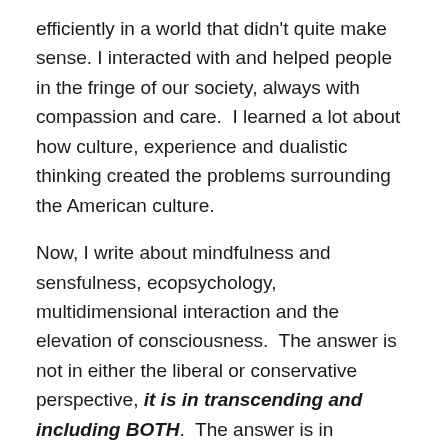efficiently in a world that didn't quite make sense. I interacted with and helped people in the fringe of our society, always with compassion and care.  I learned a lot about how culture, experience and dualistic thinking created the problems surrounding the American culture.
Now, I write about mindfulness and sensfulness, ecopsychology, multidimensional interaction and the elevation of consciousness.  The answer is not in either the liberal or conservative perspective, it is in transcending and including BOTH.  The answer is in integrating the diverse belief systems so that they are interacting in a positive, caring, accepting collaborative way.
How is this related to Independence day? The people who strove to change the nation were like my father, integrated